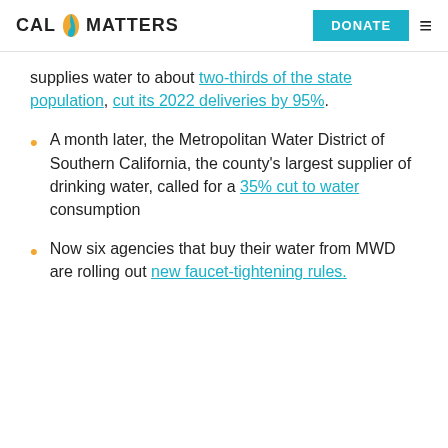CAL MATTERS | DONATE
supplies water to about two-thirds of the state population, cut its 2022 deliveries by 95%.
A month later, the Metropolitan Water District of Southern California, the county's largest supplier of drinking water, called for a 35% cut to water consumption
Now six agencies that buy their water from MWD are rolling out new faucet-tightening rules.